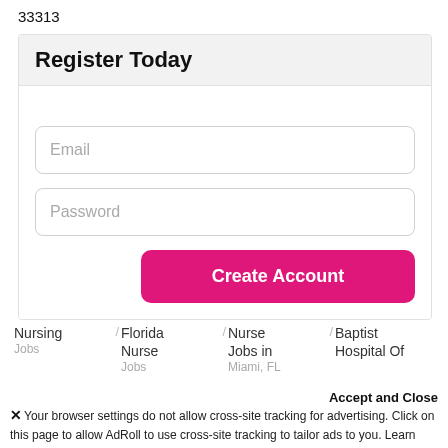33313
Register Today
[Figure (screenshot): Web registration form with Email input field, Password input field, and a pink 'Create Account' button]
Nursing Jobs / Florida Nurse Jobs / Nurse Jobs in Miami, FL / Baptist Hospital Of
Accept and Close
✕ Your browser settings do not allow cross-site tracking for advertising. Click on this page to allow AdRoll to use cross-site tracking to tailor ads to you. Learn more or opt out of this AdRoll tracking by clicking here. This message only appears once.